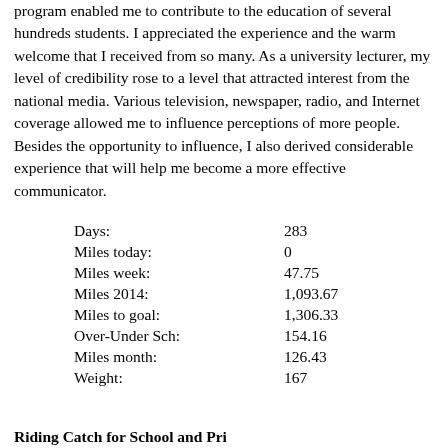program enabled me to contribute to the education of several hundreds students. I appreciated the experience and the warm welcome that I received from so many. As a university lecturer, my level of credibility rose to a level that attracted interest from the national media. Various television, newspaper, radio, and Internet coverage allowed me to influence perceptions of more people. Besides the opportunity to influence, I also derived considerable experience that will help me become a more effective communicator.
Days:              283
Miles today:       0
Miles week:        47.75
Miles 2014:        1,093.67
Miles to goal:     1,306.33
Over-Under Sch:    154.16
Miles month:       126.43
Weight:            167
Riding Catch for School and Pri...